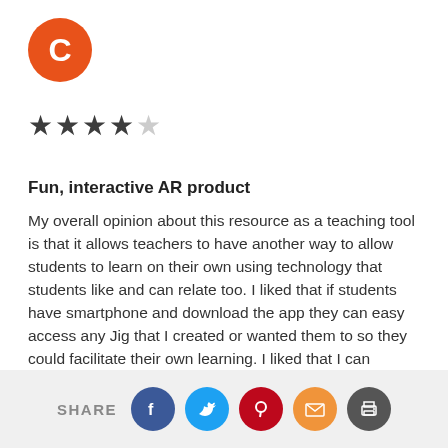[Figure (illustration): Orange circle avatar with white letter C]
[Figure (illustration): 4 out of 5 stars rating: 4 filled dark stars and 1 empty/light star]
Fun, interactive AR product
My overall opinion about this resource as a teaching tool is that it allows teachers to have another way to allow students to learn on their own using technology that students like and can relate too. I liked that if students have smartphone and download the app they can easy access any Jig that I created or wanted them to so they could facilitate their own learning. I liked that I can download it to my computer to allow to show the Jig space on the smartboard as a whole group as well. I don't like that ...
[Figure (infographic): Share bar with SHARE label and social icons: Facebook, Twitter, Pinterest, Email, Print]